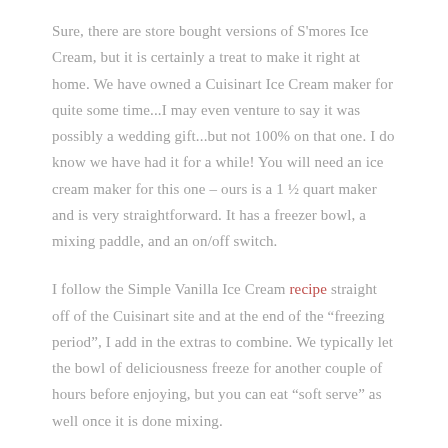Sure, there are store bought versions of S'mores Ice Cream, but it is certainly a treat to make it right at home.  We have owned a Cuisinart Ice Cream maker for quite some time...I may even venture to say it was possibly a wedding gift...but not 100% on that one.  I do know we have had it for a while!  You will need an ice cream maker for this one – ours is a 1 ½ quart maker and is very straightforward.  It has a freezer bowl, a mixing paddle, and an on/off switch.
I follow the Simple Vanilla Ice Cream recipe straight off of the Cuisinart site and at the end of the "freezing period", I add in the extras to combine.  We typically let the bowl of deliciousness freeze for another couple of hours before enjoying, but you can eat "soft serve" as well once it is done mixing.